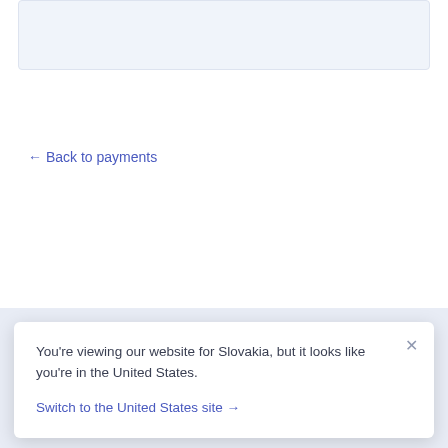← Back to payments
You're viewing our website for Slovakia, but it looks like you're in the United States.
Switch to the United States site →